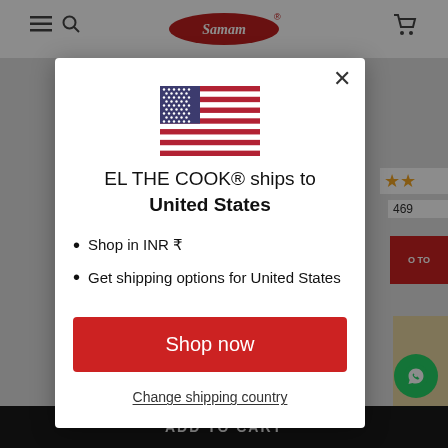[Figure (screenshot): E-commerce website screenshot showing a modal dialog for country shipping selection. The modal displays a US flag, text 'EL THE COOK® ships to United States', bullet points about INR currency and shipping options, a red 'Shop now' button, and a 'Change shipping country' link. Background shows partial website header with logo and a black 'ADD TO CART' bar at the bottom.]